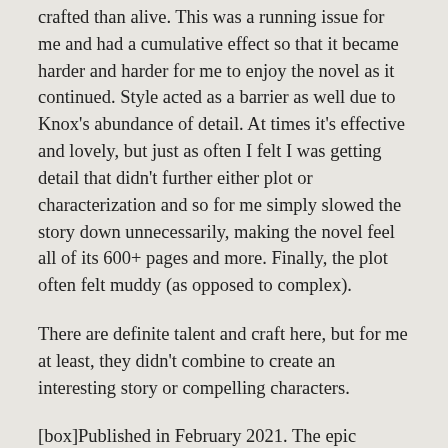crafted than alive. This was a running issue for me and had a cumulative effect so that it became harder and harder for me to enjoy the novel as it continued. Style acted as a barrier as well due to Knox's abundance of detail. At times it's effective and lovely, but just as often I felt I was getting detail that didn't further either plot or characterization and so for me simply slowed the story down unnecessarily, making the novel feel all of its 600+ pages and more. Finally, the plot often felt muddy (as opposed to complex).
There are definite talent and craft here, but for me at least, they didn't combine to create an interesting story or compelling characters.
[box]Published in February 2021. The epic fantasy that's taking the world by storm–a bewitching story about a revenge killing, a mysterious scroll box that has survived